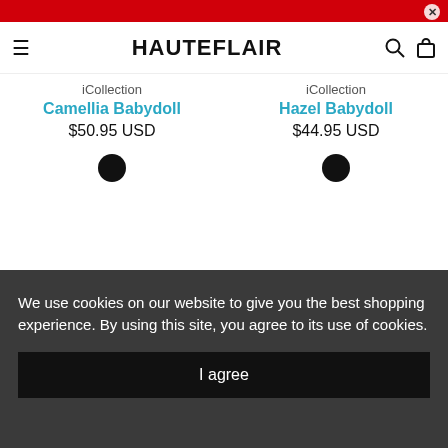HAUTEFLAIR
iCollection
Camellia Babydoll
$50.95 USD
iCollection
Hazel Babydoll
$44.95 USD
We use cookies on our website to give you the best shopping experience. By using this site, you agree to its use of cookies.
I agree